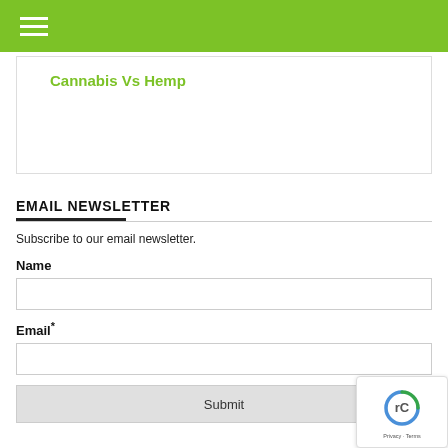Navigation menu header bar with hamburger icon
Cannabis Vs Hemp
EMAIL NEWSLETTER
Subscribe to our email newsletter.
Name
Email*
Submit